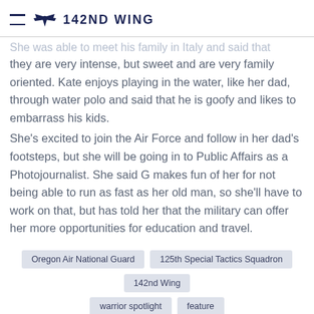142ND WING
She was able to meet his family in Italy and said that they are very intense, but sweet and are very family oriented. Kate enjoys playing in the water, like her dad, through water polo and said that he is goofy and likes to embarrass his kids.
She's excited to join the Air Force and follow in her dad's footsteps, but she will be going in to Public Affairs as a Photojournalist. She said G makes fun of her for not being able to run as fast as her old man, so she'll have to work on that, but has told her that the military can offer her more opportunities for education and travel.
Oregon Air National Guard
125th Special Tactics Squadron
142nd Wing
warrior spotlight
feature